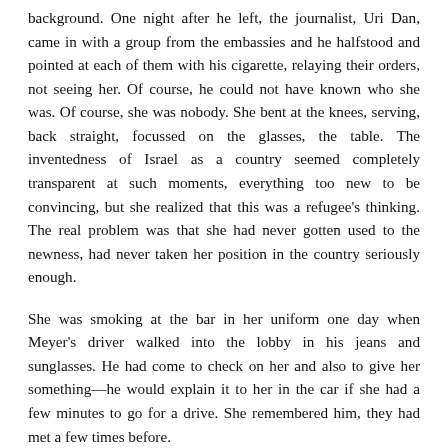background. One night after he left, the journalist, Uri Dan, came in with a group from the embassies and he halfstood and pointed at each of them with his cigarette, relaying their orders, not seeing her. Of course, he could not have known who she was. Of course, she was nobody. She bent at the knees, serving, back straight, focussed on the glasses, the table. The inventedness of Israel as a country seemed completely transparent at such moments, everything too new to be convincing, but she realized that this was a refugee's thinking. The real problem was that she had never gotten used to the newness, had never taken her position in the country seriously enough.
She was smoking at the bar in her uniform one day when Meyer's driver walked into the lobby in his jeans and sunglasses. He had come to check on her and also to give her something—he would explain it to her in the car if she had a few minutes to go for a drive. She remembered him, they had met a few times before.